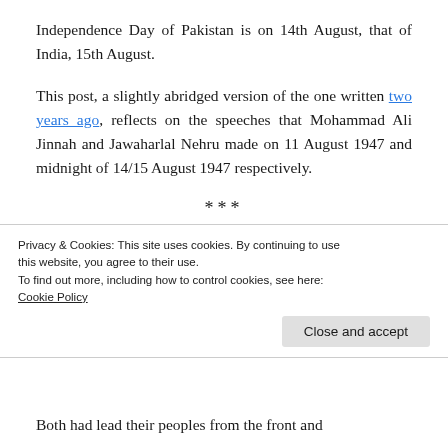Independence Day of Pakistan is on 14th August, that of India, 15th August.
This post, a slightly abridged version of the one written two years ago, reflects on the speeches that Mohammad Ali Jinnah and Jawaharlal Nehru made on 11 August 1947 and midnight of 14/15 August 1947 respectively.
***
Jawahar Lal Nehru and Mohammad Ali Jinnah
Privacy & Cookies: This site uses cookies. By continuing to use this website, you agree to their use.
To find out more, including how to control cookies, see here:
Cookie Policy
Close and accept
Both had lead their peoples from the front and